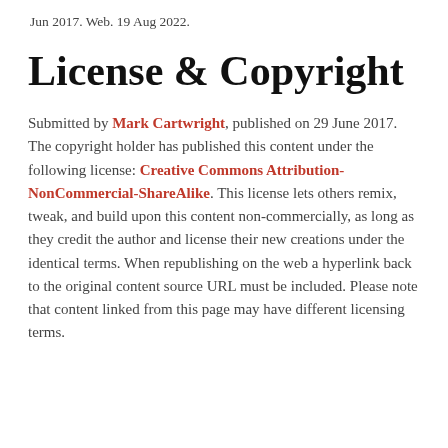Jun 2017. Web. 19 Aug 2022.
License & Copyright
Submitted by Mark Cartwright, published on 29 June 2017. The copyright holder has published this content under the following license: Creative Commons Attribution-NonCommercial-ShareAlike. This license lets others remix, tweak, and build upon this content non-commercially, as long as they credit the author and license their new creations under the identical terms. When republishing on the web a hyperlink back to the original content source URL must be included. Please note that content linked from this page may have different licensing terms.